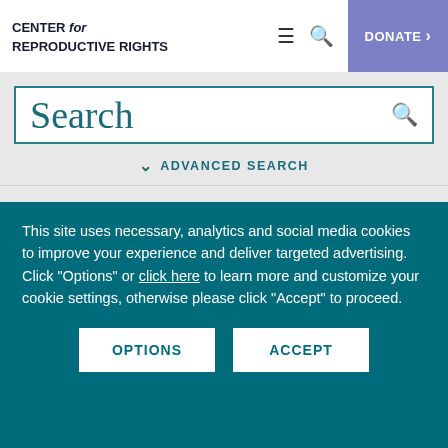CENTER for REPRODUCTIVE RIGHTS
Search
ADVANCED SEARCH
Selected   Briefing Papers ×   Books &
This site uses necessary, analytics and social media cookies to improve your experience and deliver targeted advertising. Click "Options" or click here to learn more and customize your cookie settings, otherwise please click "Accept" to proceed.
OPTIONS
ACCEPT